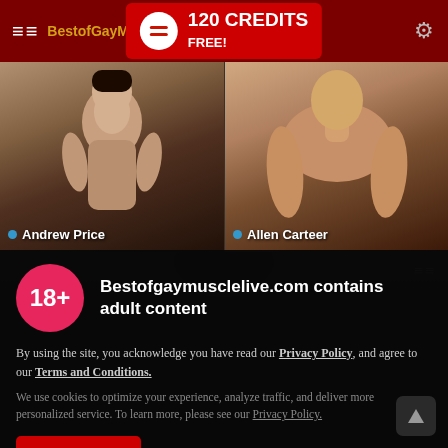BestofGayMuscleLive — 120 CREDITS FREE!
[Figure (screenshot): Thumbnail of Andrew Price — shirtless muscular man taking mirror selfie]
[Figure (screenshot): Thumbnail of Allen Carteer — shirtless muscular man]
[Figure (screenshot): Partial third row thumbnail, dark background with grid icon]
Bestofgaymusclelive.com contains adult content
By using the site, you acknowledge you have read our Privacy Policy, and agree to our Terms and Conditions.
We use cookies to optimize your experience, analyze traffic, and deliver more personalized service. To learn more, please see our Privacy Policy.
I AGREE